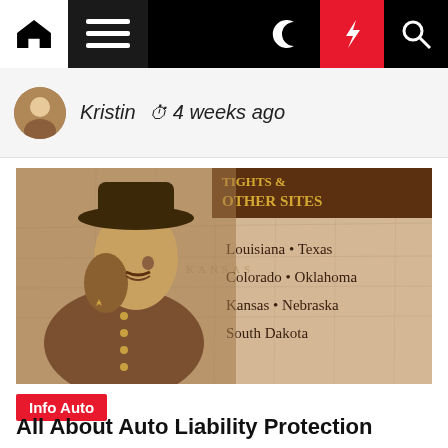Navigation bar with home, menu, moon, lightning, search icons
Kristin  4 weeks ago
[Figure (photo): Sepia-toned historical image of a military officer in uniform with a hat, overlaid on an old map background. Text on image reads: 'TIGHTS & OTHER SITES, Louisiana • Texas, Colorado • Oklahoma, Kansas • Nebraska, South Dakota']
Info Auto
All About Auto Liability Protection